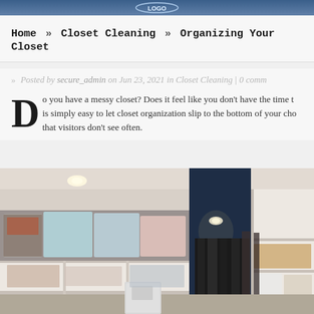Home » Closet Cleaning » Organizing Your Closet
» Posted by secure_admin on Jun 23, 2021 in Closet Cleaning | 0 comm...
Do you have a messy closet? Does it feel like you don't have the time t... is simply easy to let closet organization slip to the bottom of your cho... that visitors don't see often.
[Figure (photo): Interior of a walk-in closet showing white shelving units on the left and right sides with plastic storage bins on top shelves, dark navy blue walls in the background, hanging dark clothes, recessed ceiling lights, and miscellaneous items on shelves.]